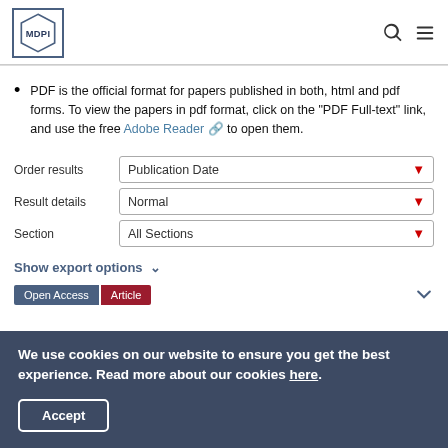MDPI
PDF is the official format for papers published in both, html and pdf forms. To view the papers in pdf format, click on the "PDF Full-text" link, and use the free Adobe Reader to open them.
Order results: Publication Date | Result details: Normal | Section: All Sections
Show export options
Open Access  Article
We use cookies on our website to ensure you get the best experience. Read more about our cookies here.